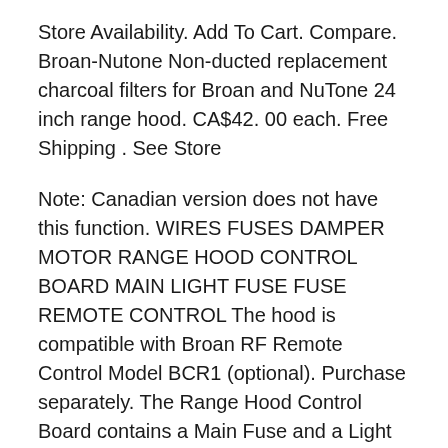Store Availability. Add To Cart. Compare. Broan-Nutone Non-ducted replacement charcoal filters for Broan and NuTone 24 inch range hood. CA$42. 00 each. Free Shipping . See Store
Note: Canadian version does not have this function. WIRES FUSES DAMPER MOTOR RANGE HOOD CONTROL BOARD MAIN LIGHT FUSE FUSE REMOTE CONTROL The hood is compatible with Broan RF Remote Control Model BCR1 (optional). Purchase separately. The Range Hood Control Board contains a Main Fuse and a Light Fuse to protect the controls from power surges. If 04/05/2016B B· Change your range hood motor easily and avoid repairman premiums.